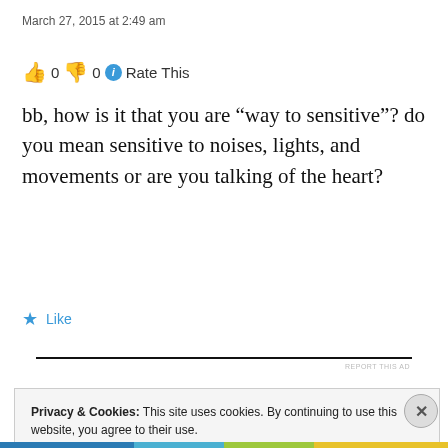March 27, 2015 at 2:49 am
👍 0 👎 0 ℹ Rate This
bb, how is it that you are “way to sensitive”? do you mean sensitive to noises, lights, and movements or are you talking of the heart?
★ Like
REPORT THIS AD
Privacy & Cookies: This site uses cookies. By continuing to use this website, you agree to their use.
To find out more, including how to control cookies, see here:
Cookie Policy
Close and accept